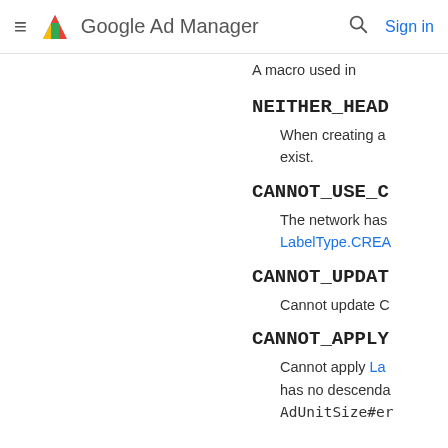Google Ad Manager — Sign in
A macro used in
NEITHER_HEAD
When creating a exist.
CANNOT_USE_C
The network has LabelType.CREA
CANNOT_UPDAT
Cannot update C
CANNOT_APPLY
Cannot apply La has no descenda AdUnitSize#er